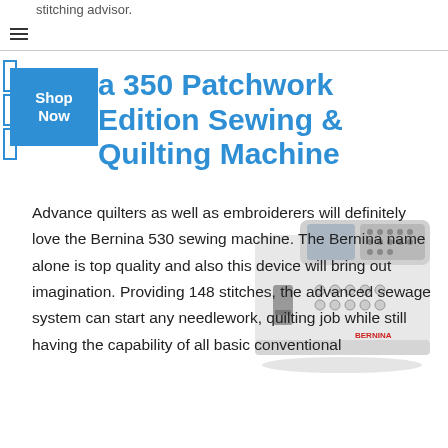stitching advisor.
a 350 Patchwork Edition Sewing & Quilting Machine
[Figure (photo): White and gray Bernina sewing machine photographed from the front-right angle, showing the control panel, needle area, and BERNINA logo in red.]
Advance quilters as well as embroiderers will definitely love the Bernina 530 sewing machine. The Bernina name alone is top quality and also this device will bring out imagination. Providing 148 stitches, the advanced sewage system can start any needlework, quilting job while still having the capability of all basic conventional